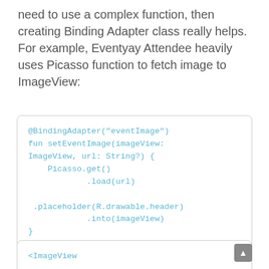need to use a complex function, then creating Binding Adapter class really helps. For example, Eventyay Attendee heavily uses Picasso function to fetch image to ImageView:
@BindingAdapter("eventImage")
fun setEventImage(imageView:
ImageView, url: String?) {
    Picasso.get()
            .load(url)

 .placeholder(R.drawable.header)
            .into(imageView)
}
<ImageView